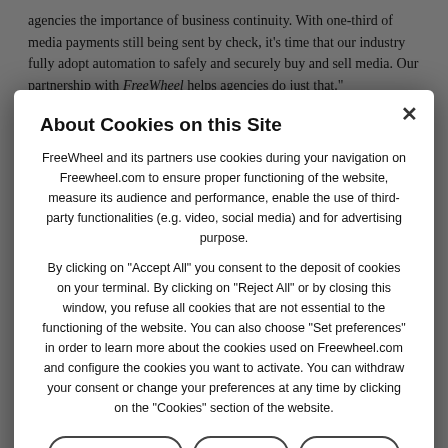agencies the importance of business continuity. With one-third of media payments still being sent by check, it's time that our industry fully adopt automation to safely and securely buy and sell media. Our partnership with [FreeWheel] helps agencies do just that.
About FreeWheel
FreeWheel helps advertisers, agencies, and media companies...
About Cookies on this Site
FreeWheel and its partners use cookies during your navigation on Freewheel.com to ensure proper functioning of the website, measure its audience and performance, enable the use of third-party functionalities (e.g. video, social media) and for advertising purpose.
By clicking on "Accept All" you consent to the deposit of cookies on your terminal. By clicking on "Reject All" or by closing this window, you refuse all cookies that are not essential to the functioning of the website. You can also choose "Set preferences" in order to learn more about the cookies used on Freewheel.com and configure the cookies you want to activate. You can withdraw your consent or change your preferences at any time by clicking on the "Cookies" section of the website.
Set Preferences   Reject All   Accept All